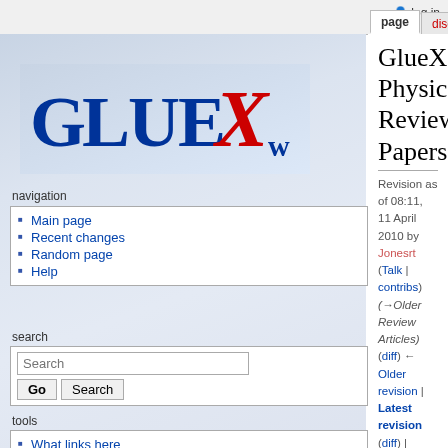log in
page | discussion | view source | history
[Figure (logo): GlueX logo with stylized X in red and blue text on gradient background]
navigation
Main page
Recent changes
Random page
Help
search
tools
What links here
Related changes
Special pages
Printable version
Permanent link
GlueX Physics Review Papers
Revision as of 08:11, 11 April 2010 by Jonesrt (Talk | contribs) (→Older Review Articles) (diff) ← Older revision | Latest revision (diff) | Newer revision → (diff)
| Contents |
| --- |
| 1 GlueX Physics |
| 2 Review Papers |
| 2.1 Recent Review Papers on Hadron Spectroscopy |
| 2.2 Older Review Articles |
| 3 Exotic Quantum Number Mesons |
| 4 Lattice QCD Calculations |
| 5 Photoproduction |
| 6 Strong Decay Models |
GlueX Physics
Review Papers